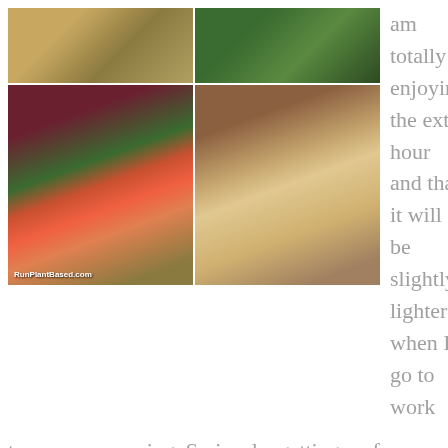[Figure (photo): A collage of four food photos showing plant-based meals: top-left shows grains/seeds, top-right shows kale in a pan, bottom-left shows a colorful vegetable dish with broccoli and carrots with RunPlantBased.com watermark, bottom-right shows a curry dish in a white bowl with rice]
am totally enjoying the extra hour and that it will be slightly lighter when I go to work tomorrow morning. Seriously, getting up for work in the cold and dark has been extra hard the last few weeks for some reason. Maybe I need to try one of those sunlight [...]